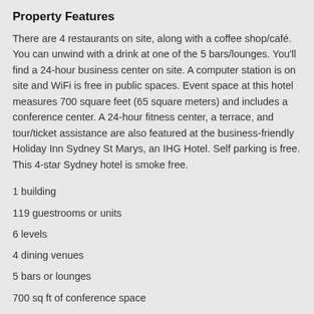Property Features
There are 4 restaurants on site, along with a coffee shop/café. You can unwind with a drink at one of the 5 bars/lounges. You'll find a 24-hour business center on site. A computer station is on site and WiFi is free in public spaces. Event space at this hotel measures 700 square feet (65 square meters) and includes a conference center. A 24-hour fitness center, a terrace, and tour/ticket assistance are also featured at the business-friendly Holiday Inn Sydney St Marys, an IHG Hotel. Self parking is free. This 4-star Sydney hotel is smoke free.
1 building
119 guestrooms or units
6 levels
4 dining venues
5 bars or lounges
700 sq ft of conference space
65 sq m of conference space
Built in 2018
Business center (24 hours)
Conference center
Dry cleaning